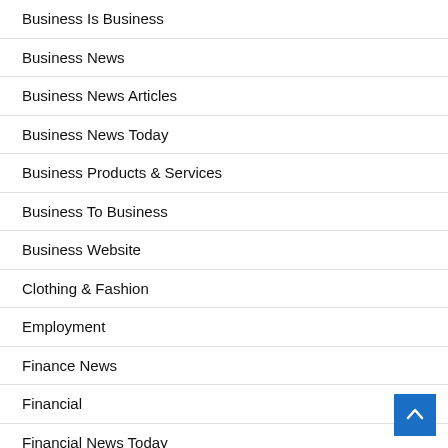Business Is Business
Business News
Business News Articles
Business News Today
Business Products & Services
Business To Business
Business Website
Clothing & Fashion
Employment
Finance News
Financial
Financial News Today
Foods & Culinary